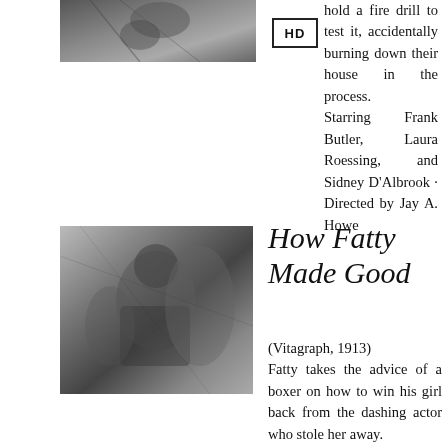[Figure (photo): Black and white still photo, partial view, top of page]
hold a fire drill to test it, accidentally burning down their house in the process.
Starring Frank Butler, Laura Roessing, and Sidney D'Albrook · Directed by Jay A. Howe
[Figure (photo): Black and white photo of a heavyset man outdoors near a tree, likely Hughey Mack]
How Fatty Made Good
(Vitagraph, 1913)
Fatty takes the advice of a boxer on how to win his girl back from the dashing actor who stole her away.
Starring Hughey Mack and Lucille Lee · Directed